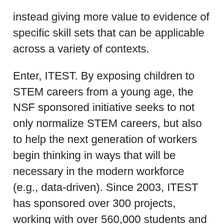instead giving more value to evidence of specific skill sets that can be applicable across a variety of contexts.
Enter, ITEST. By exposing children to STEM careers from a young age, the NSF sponsored initiative seeks to not only normalize STEM careers, but also to help the next generation of workers begin thinking in ways that will be necessary in the modern workforce (e.g., data-driven). Since 2003, ITEST has sponsored over 300 projects, working with over 560,000 students and roughly 17,000 educators in the United States. Students learn scientific and technology-based content while being exposed to careers in STEM fields. Through this program, teachers are also given an opportunity to develop their own skill sets to better help prepare their students for the modern workforce. A multitude of